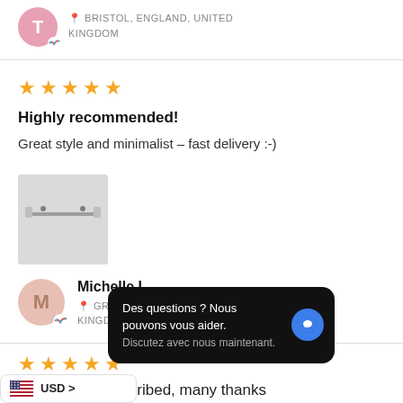BRISTOL, ENGLAND, UNITED KINGDOM
★★★★★
Highly recommended!
Great style and minimalist – fast delivery :-)
[Figure (photo): Product review photo showing a minimalist metal object, gray/silver tones]
Michelle L.
GRAYS, ENGLAND, UNITED KINGDOM
★★★★★
Des questions ? Nous pouvons vous aider. Discutez avec nous maintenant.
USD >
beautiful, as described, many thanks